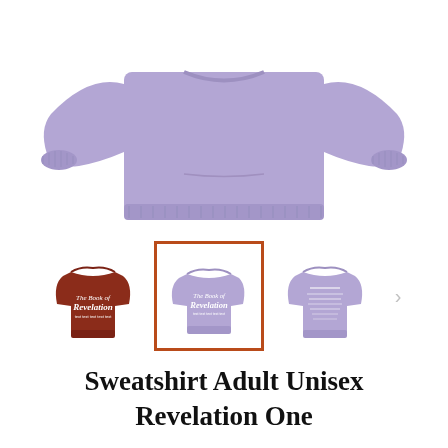[Figure (photo): Main product photo: lavender/purple unisex adult crewneck sweatshirt shown from the front, no design visible, plain lavender color]
[Figure (photo): Thumbnail row showing three sweatshirt variants: left - dark red/brick color with 'The Book of Revelation' text design on front; center (selected, highlighted with orange-red border) - lavender sweatshirt with 'The Book of Revelation' text design on front; right - lavender sweatshirt showing the back with text. A right-arrow navigation button appears to the right.]
Sweatshirt Adult Unisex Revelation One